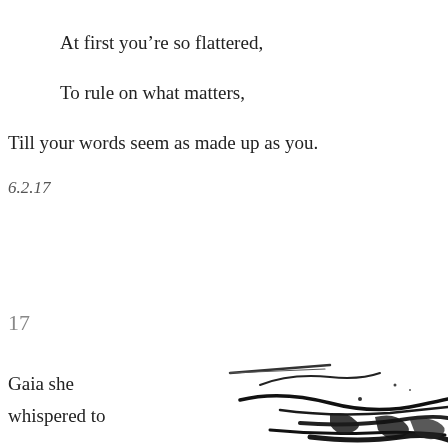At first you're so flattered,
To rule on what matters,
Till your words seem as made up as you.
6.2.17
17
Gaia she whispered to
[Figure (illustration): Black ink brush stroke illustration, abstract, partially visible at bottom right of page]